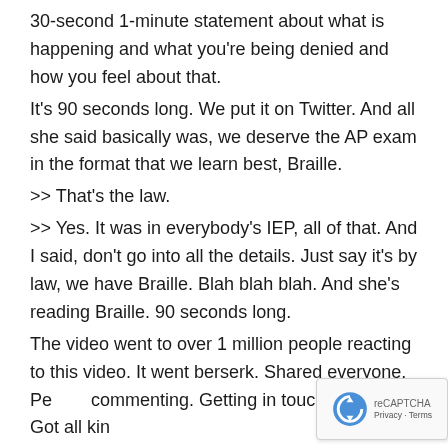30-second 1-minute statement about what is happening and what you're being denied and how you feel about that.
It's 90 seconds long. We put it on Twitter. And all she said basically was, we deserve the AP exam in the format that we learn best, Braille.
>> That's the law.
>> Yes. It was in everybody's IEP, all of that. And I said, don't go into all the details. Just say it's by law, we have Braille. Blah blah blah. And she's reading Braille. 90 seconds long.
The video went to over 1 million people reacting to this video. It went berserk. Shared everyone. People commenting. Getting in touch with us. Got all kinds